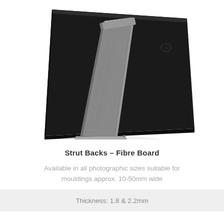[Figure (photo): Back view of a photo frame with a strut/easel back made of fibre board. The frame back is dark/black colored and the strut support is silver-grey textured material, shown propped open at an angle.]
Strut Backs – Fibre Board
Available in all photographic sizes suitable for mouldings approx. 10-50mm wide
Thickness: 1.8 & 2.2mm